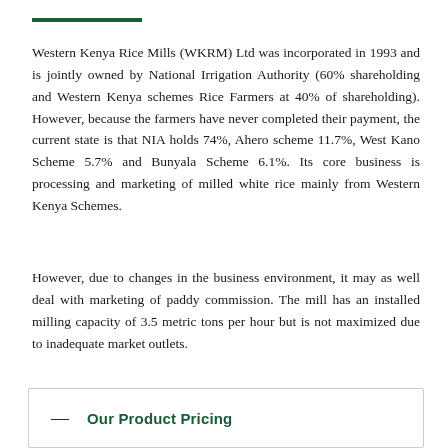Western Kenya Rice Mills (WKRM) Ltd was incorporated in 1993 and is jointly owned by National Irrigation Authority (60% shareholding and Western Kenya schemes Rice Farmers at 40% of shareholding). However, because the farmers have never completed their payment, the current state is that NIA holds 74%, Ahero scheme 11.7%, West Kano Scheme 5.7% and Bunyala Scheme 6.1%. Its core business is processing and marketing of milled white rice mainly from Western Kenya Schemes.
However, due to changes in the business environment, it may as well deal with marketing of paddy commission. The mill has an installed milling capacity of 3.5 metric tons per hour but is not maximized due to inadequate market outlets.
Our Product Pricing